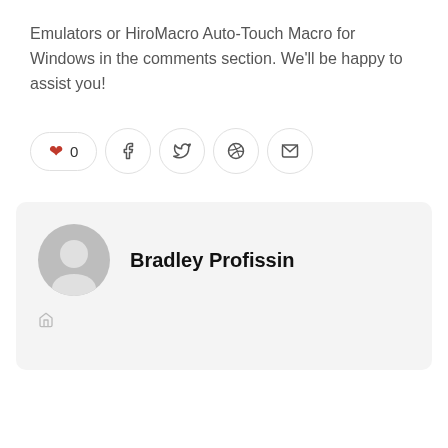Emulators or HiroMacro Auto-Touch Macro for Windows in the comments section. We'll be happy to assist you!
[Figure (other): Social sharing buttons row: heart/like button showing count 0, Facebook share button, Twitter share button, Pinterest share button, Email share button]
[Figure (other): Author bio card with gray avatar placeholder icon, author name Bradley Profissin, and a website/home icon link below]
Bradley Profissin